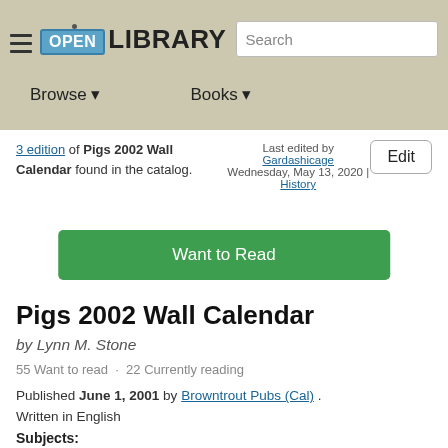Open Library — Browse | Books | Search
3 edition of Pigs 2002 Wall Calendar found in the catalog.
Last edited by Gardashicage
Wednesday, May 13, 2020 | History
Edit
Want to Read
Pigs 2002 Wall Calendar
by Lynn M. Stone
55 Want to read · 22 Currently reading
Published June 1, 2001 by Browntrout Pubs (Cal) .
Written in English
Subjects:
21...